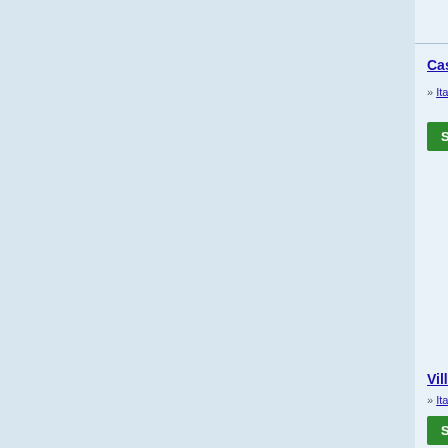Casa Daisy - 19976: Sorrento Coast Apartment with...
» Italy » Campania » Amalfi Coast » near Massa Lubr...
Save $656
to Coast Apartment with
View All Photos
** (stars) 10...
Villa Menaggio - 20789: Lake Como Lakeside V...
» Italy » Lombardy » Lake Como » in Menaggio
Save $2,223
omo Lakeside Villa for a
View All Photos